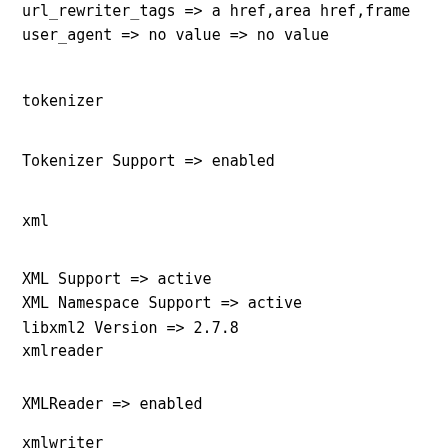url_rewriter_tags => a href,area href,frame
user_agent => no value => no value
tokenizer
Tokenizer Support => enabled
xml
XML Support => active
XML Namespace Support => active
libxml2 Version => 2.7.8
xmlreader
XMLReader => enabled
xmlwriter
XMLWriter => enabled